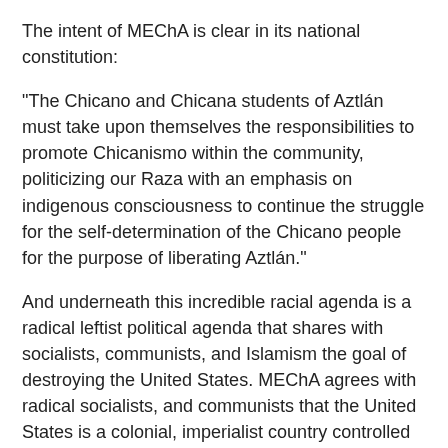The intent of MEChA is clear in its national constitution:
"The Chicano and Chicana students of Aztlán must take upon themselves the responsibilities to promote Chicanismo within the community, politicizing our Raza with an emphasis on indigenous consciousness to continue the struggle for the self-determination of the Chicano people for the purpose of liberating Aztlán."
And underneath this incredible racial agenda is a radical leftist political agenda that shares with socialists, communists, and Islamism the goal of destroying the United States. MEChA agrees with radical socialists, and communists that the United States is a colonial, imperialist country controlled by Europeans and dedicated to capitalist exploitation of workers. MEChA presents a version of Marxism with a racist twist. And MEChA has a huge presence as a student organization with more than 300 chapters in high schools and colleges throughout the U.S.
Reconquista desires to push back the U.S.-Mexican border to where it stood before the 1846–1848 Mexican-American